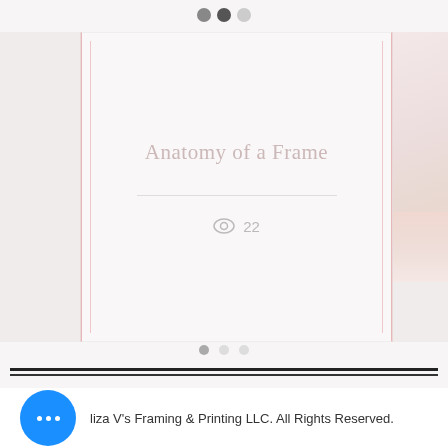[Figure (screenshot): Navigation dots at top: two dark circles and one light circle]
[Figure (screenshot): Carousel card layout showing center card with title 'Anatomy of a Frame', a horizontal divider, and view count of 22 with eye icon. Left and right side strips visible, right strip shows pinkish image content.]
Anatomy of a Frame
22
[Figure (screenshot): Bottom pagination dots: one filled gray dot and two empty/lighter dots]
[Figure (screenshot): Two horizontal divider lines (one thick, one thin) spanning page width]
[Figure (screenshot): Blue circular button with three white dots (more options menu)]
liza V's Framing & Printing LLC. All Rights Reserved.